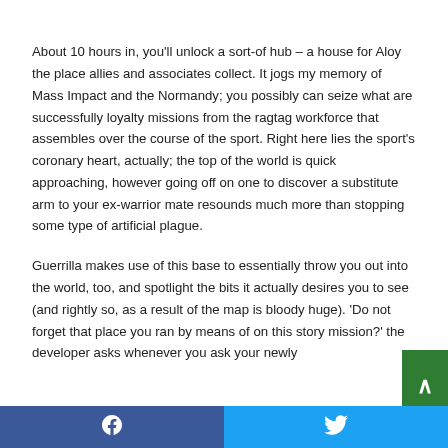About 10 hours in, you'll unlock a sort-of hub – a house for Aloy the place allies and associates collect. It jogs my memory of Mass Impact and the Normandy; you possibly can seize what are successfully loyalty missions from the ragtag workforce that assembles over the course of the sport. Right here lies the sport's coronary heart, actually; the top of the world is quick approaching, however going off on one to discover a substitute arm to your ex-warrior mate resounds much more than stopping some type of artificial plague.
Guerrilla makes use of this base to essentially throw you out into the world, too, and spotlight the bits it actually desires you to see (and rightly so, as a result of the map is bloody huge). 'Do not forget that place you ran by means of on this story mission?' the developer asks whenever you ask your newly
Facebook  Twitter